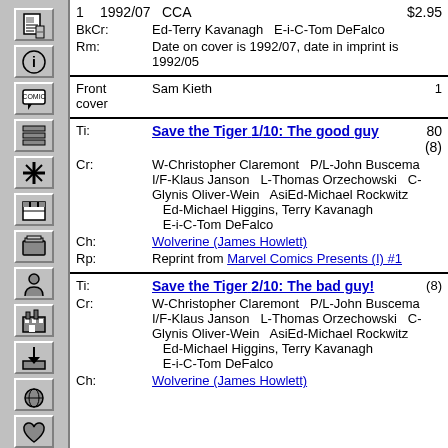| # | Date | Description | Price |
| --- | --- | --- | --- |
| 1 | 1992/07 | CCA | $2.95 |
|  | BkCr: | Ed-Terry Kavanagh   E-i-C-Tom DeFalco |  |
|  | Rm: | Date on cover is 1992/07, date in imprint is 1992/05 |  |
|  | Front cover | Sam Kieth | 1 |
|  | Ti: | Save the Tiger 1/10: The good guy | 80 (8) |
|  | Cr: | W-Christopher Claremont   P/L-John Buscema   I/F-Klaus Janson   L-Thomas Orzechowski   C-Glynis Oliver-Wein   AsiEd-Michael Rockwitz   Ed-Michael Higgins, Terry Kavanagh   E-i-C-Tom DeFalco |  |
|  | Ch: | Wolverine (James Howlett) |  |
|  | Rp: | Reprint from Marvel Comics Presents (I) #1 |  |
|  | Ti: | Save the Tiger 2/10: The bad guy! | (8) |
|  | Cr: | W-Christopher Claremont   P/L-John Buscema   I/F-Klaus Janson   L-Thomas Orzechowski   C-Glynis Oliver-Wein   AsiEd-Michael Rockwitz   Ed-Michael Higgins, Terry Kavanagh   E-i-C-Tom DeFalco |  |
|  | Ch: | Wolverine (James Howlett) |  |